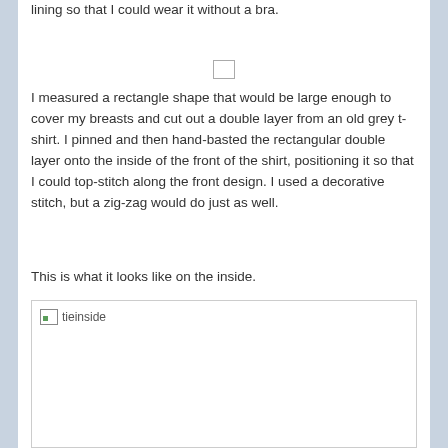lining so that I could wear it without a bra.
[Figure (other): Small empty rectangle placeholder]
I measured a rectangle shape that would be large enough to cover my breasts and cut out a double layer from an old grey t-shirt. I pinned and then hand-basted the rectangular double layer onto the inside of the front of the shirt, positioning it so that I could top-stitch along the front design. I used a decorative stitch, but a zig-zag would do just as well.
This is what it looks like on the inside.
[Figure (photo): Image placeholder labeled tieinside showing the inside of a shirt with lining]